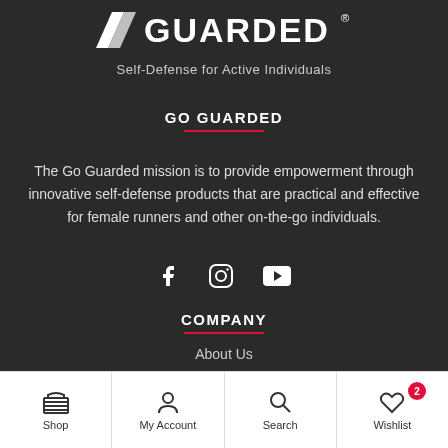[Figure (logo): Go Guarded logo with stylized G and text, white on dark background]
Self-Defense for Active Individuals
GO GUARDED
The Go Guarded mission is to provide empowerment through innovative self-defense products that are practical and effective for female runners and other on-the-go individuals.
[Figure (other): Social media icons: Facebook, Instagram, YouTube]
COMPANY
About Us
Shop  My Account  Search  Wishlist (2)